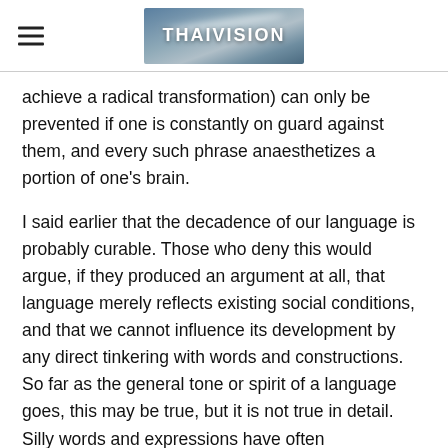THAIVISION
achieve a radical transformation) can only be prevented if one is constantly on guard against them, and every such phrase anaesthetizes a portion of one's brain.
I said earlier that the decadence of our language is probably curable. Those who deny this would argue, if they produced an argument at all, that language merely reflects existing social conditions, and that we cannot influence its development by any direct tinkering with words and constructions. So far as the general tone or spirit of a language goes, this may be true, but it is not true in detail. Silly words and expressions have often disappeared, not through any evolutionary process but owing to the conscious action of a minority. Two recent examples were explore every avenue and leave no stone